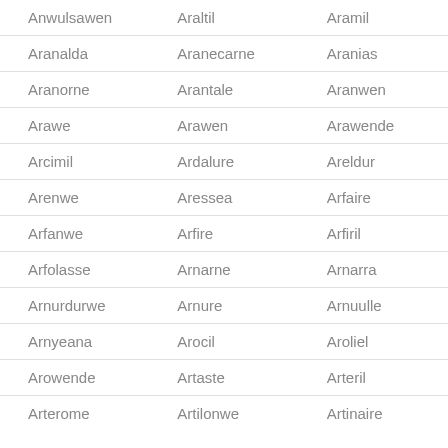| Anwulsawen | Araltil | Aramil |
| Aranalda | Aranecarne | Aranias |
| Aranorne | Arantale | Aranwen |
| Arawe | Arawen | Arawende |
| Arcimil | Ardalure | Areldur |
| Arenwe | Aressea | Arfaire |
| Arfanwe | Arfire | Arfiril |
| Arfolasse | Arnarne | Arnarra |
| Arnurdurwe | Arnure | Arnuulle |
| Arnyeana | Arocil | Aroliel |
| Arowende | Artaste | Arteril |
| Arterome | Artilonwe | Artinaire |